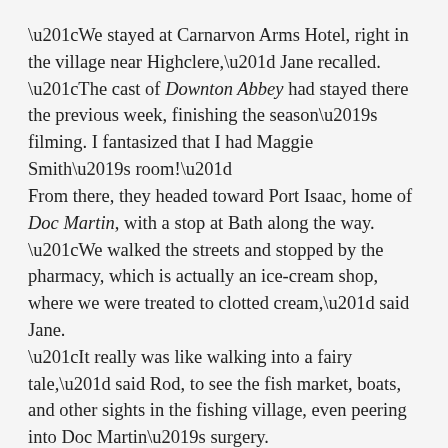“We stayed at Carnarvon Arms Hotel, right in the village near Highclere,” Jane recalled. “The cast of Downton Abbey had stayed there the previous week, finishing the season’s filming. I fantasized that I had Maggie Smith’s room!”
From there, they headed toward Port Isaac, home of Doc Martin, with a stop at Bath along the way.
“We walked the streets and stopped by the pharmacy, which is actually an ice-cream shop, where we were treated to clotted cream,” said Jane.
“It really was like walking into a fairy tale,” said Rod, to see the fish market, boats, and other sights in the fishing village, even peering into Doc Martin’s surgery.
Leaving Port Isaac, the Flints then headed for the cliffs so magnificently displayed in Poldark on Masterpiece.